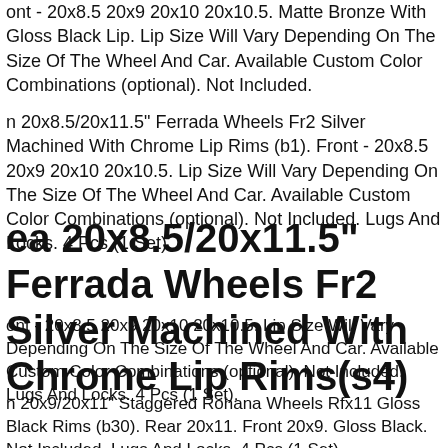ont - 20x8.5 20x9 20x10 20x10.5. Matte Bronze With Gloss Black Lip. Lip Size Will Vary Depending On The Size Of The Wheel And Car. Available Custom Color Combinations (optional). Not Included.
n 20x8.5/20x11.5" Ferrada Wheels Fr2 Silver Machined With Chrome Lip Rims (b1). Front - 20x8.5 20x9 20x10 20x10.5. Lip Size Will Vary Depending On The Size Of The Wheel And Car. Available Custom Color Combinations (optional). Not Included. Lugs And Locks. 4 Pcs (1 Set).
ea 20x8.5/20x11.5" Ferrada Wheels Fr2 Silver Machined With Chrome Lip Rims(s4)
ont - 20x8.5 20x9 20x10 20x10.5. Lip Size Will Vary Depending On The Size Of The Wheel And Car. Available Custom Color Combinations (optional). Not Included. Lugs And Locks. 4 Pcs (1 Set).
n 20x9/20x11" Staggered Rohana Wheels Rfx11 Gloss Black Rims (b30). Rear 20x11. Front 20x9. Gloss Black. Not Included. Lugs And Locks. 4 Pcs (1 Set).
a 20x8.5/20x11.5" Ferrada Wheels Fr2 Silver Machined With Chrome Lip Rims(s4)